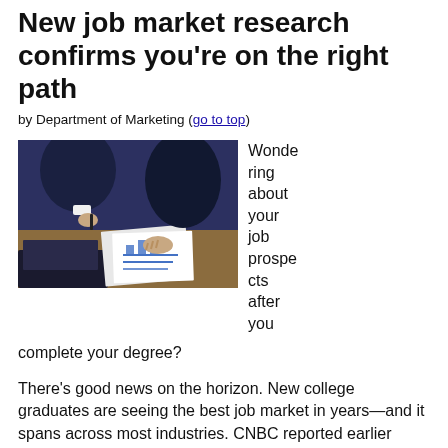New job market research confirms you're on the right path
by Department of Marketing (go to top)
[Figure (photo): Two business professionals in suits reviewing documents and charts on a desk with a laptop, viewed from above.]
Wondering about your job prospects after you complete your degree?
There's good news on the horizon. New college graduates are seeing the best job market in years—and it spans across most industries. CNBC reported earlier